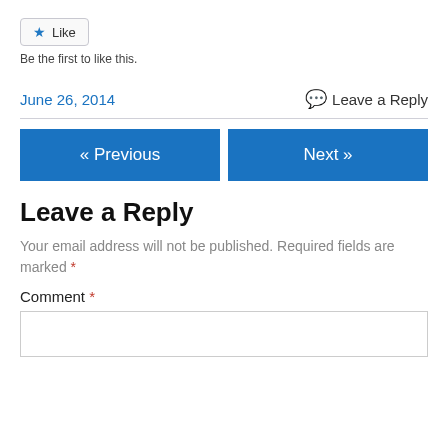[Figure (other): Like button with star icon]
Be the first to like this.
June 26, 2014
Leave a Reply
« Previous
Next »
Leave a Reply
Your email address will not be published. Required fields are marked *
Comment *